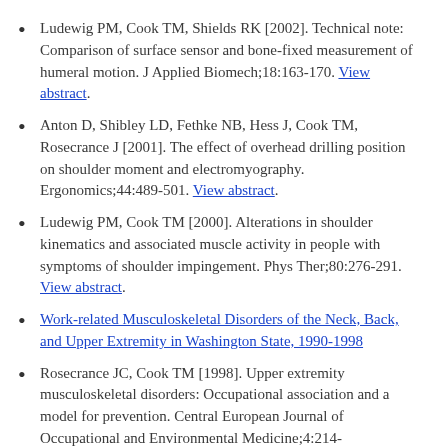Ludewig PM, Cook TM, Shields RK [2002]. Technical note: Comparison of surface sensor and bone-fixed measurement of humeral motion. J Applied Biomech;18:163-170. View abstract.
Anton D, Shibley LD, Fethke NB, Hess J, Cook TM, Rosecrance J [2001]. The effect of overhead drilling position on shoulder moment and electromyography. Ergonomics;44:489-501. View abstract.
Ludewig PM, Cook TM [2000]. Alterations in shoulder kinematics and associated muscle activity in people with symptoms of shoulder impingement. Phys Ther;80:276-291. View abstract.
Work-related Musculoskeletal Disorders of the Neck, Back, and Upper Extremity in Washington State, 1990-1998
Rosecrance JC, Cook TM [1998]. Upper extremity musculoskeletal disorders: Occupational association and a model for prevention. Central European Journal of Occupational and Environmental Medicine;4:214-